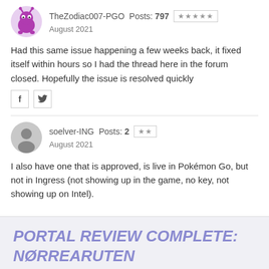TheZodiac007-PGO  Posts: 797  ★★★★★  August 2021
Had this same issue happening a few weeks back, it fixed itself within hours so I had the thread here in the forum closed. Hopefully the issue is resolved quickly
soelver-ING  Posts: 2  ★★  August 2021
I also have one that is approved, is live in Pokémon Go, but not in Ingress (not showing up in the game, no key, not showing up on Intel).
PORTAL REVIEW COMPLETE:
NØRREARUTEN